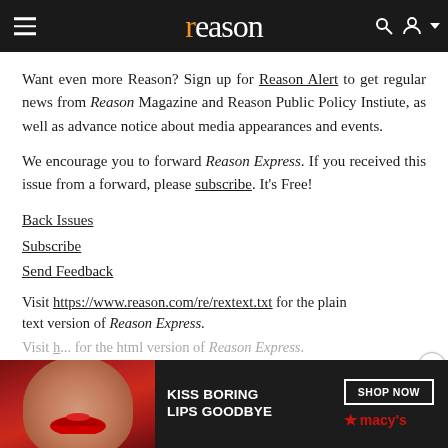reason
Want even more Reason? Sign up for Reason Alert to get regular news from Reason Magazine and Reason Public Policy Instiute, as well as advance notice about media appearances and events.
We encourage you to forward Reason Express. If you received this issue from a forward, please subscribe. It's Free!
Back Issues
Subscribe
Send Feedback
Visit https://www.reason.com/re/rextext.txt for the plain text version of Reason Express.
Visit [url] for the html version of Reason Express.
[Figure (advertisement): Macy's advertisement: KISS BORING LIPS GOODBYE with SHOP NOW button and macy's logo with star, featuring a woman's face with red lipstick]